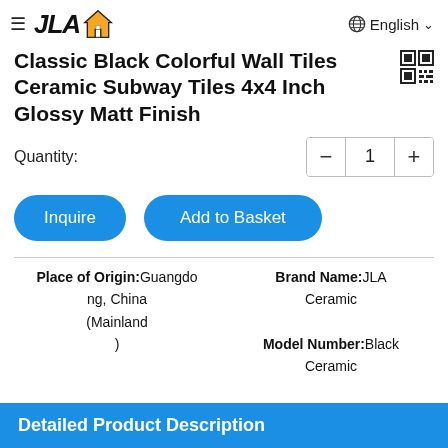≡ JLA [house icon]   🌐 English ∨
Classic Black Colorful Wall Tiles Ceramic Subway Tiles 4x4 Inch Glossy Matt Finish
Quantity: 1
Inquire   Add to Basket
| Place of Origin:Guangdong, China (Mainland) | Brand Name:JLA Ceramic |
|  | Model Number:Black Ceramic Tiles |
Detailed Product Description